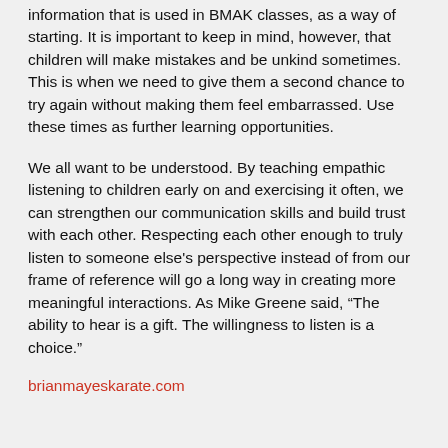information that is used in BMAK classes, as a way of starting. It is important to keep in mind, however, that children will make mistakes and be unkind sometimes. This is when we need to give them a second chance to try again without making them feel embarrassed. Use these times as further learning opportunities.
We all want to be understood. By teaching empathic listening to children early on and exercising it often, we can strengthen our communication skills and build trust with each other. Respecting each other enough to truly listen to someone else's perspective instead of from our frame of reference will go a long way in creating more meaningful interactions. As Mike Greene said, “The ability to hear is a gift. The willingness to listen is a choice.”
brianmayeskarate.com